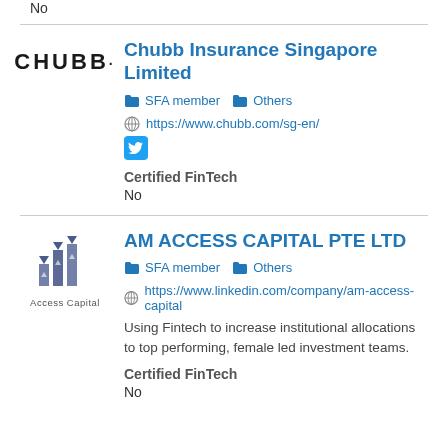No
Chubb Insurance Singapore Limited
SFA member  Others
https://www.chubb.com/sg-en/
Certified FinTech
No
AM ACCESS CAPITAL PTE LTD
SFA member  Others
https://www.linkedin.com/company/am-access-capital
Using Fintech to increase institutional allocations to top performing, female led investment teams.
Certified FinTech
No